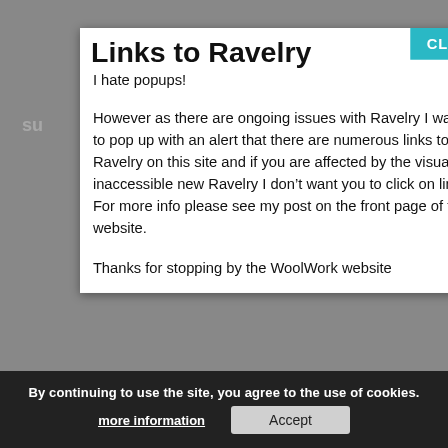Links to Ravelry
I hate popups!
However as there are ongoing issues with Ravelry I wanted to pop up with an alert that there are numerous links to Ravelry on this site and if you are affected by the visually inaccessible new Ravelry I don’t want you to click on links. For more info please see my post on the front page of the website.
Thanks for stopping by the WoolWork website
By continuing to use the site, you agree to the use of cookies.
more information
Accept